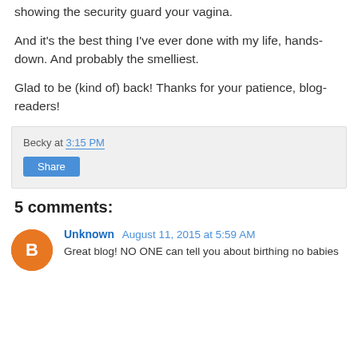showing the security guard your vagina.
And it's the best thing I've ever done with my life, hands-down. And probably the smelliest.
Glad to be (kind of) back! Thanks for your patience, blog-readers!
Becky at 3:15 PM
Share
5 comments:
Unknown August 11, 2015 at 5:59 AM
Great blog! NO ONE can tell you about birthing no babies